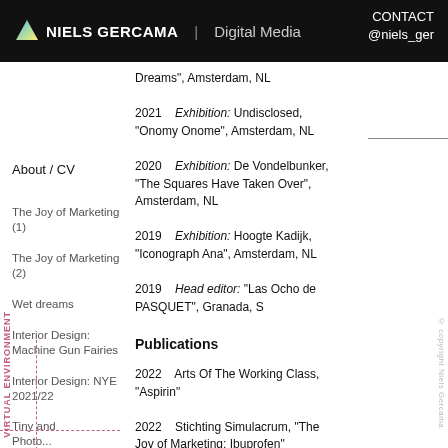NIELS GERCAMA | Digital Media CONTACT @niels_ger
Dreams", Amsterdam, NL
2021 Exhibition: Undisclosed, "Onomy Onome", Amsterdam, NL
About / CV
2020 Exhibition: De Vondelbunker, "The Squares Have Taken Over", Amsterdam, NL
2019 Exhibition: Hoogte Kadijk, "Iconograph Ana", Amsterdam, NL
2019 Head editor: "Las Ocho de PASQUET", Granada, S
The Joy of Marketing (1)
The Joy of Marketing (2)
Wet dreams
Interior Design: Machine Gun Fairies
Interior Design: NYE 2021/22
Tiny and Photo...
Publications
2022 Arts Of The Working Class, "Aspirin"
2022 Stichting Simulacrum, "The Joy of Marketing: Ibuprofen"
2022 Yes The Void, "The Joy of
© copyright Niels Gercama